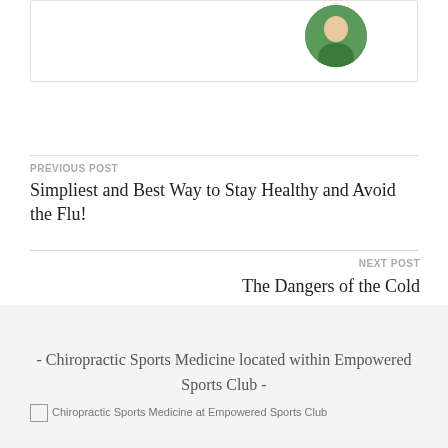[Figure (photo): Partial view of a card with a circular profile photo of a person wearing green, visible in the upper right portion of the card.]
PREVIOUS POST
Simpliest and Best Way to Stay Healthy and Avoid the Flu!
NEXT POST
The Dangers of the Cold
- Chiropractic Sports Medicine located within Empowered Sports Club -
[Figure (logo): Chiropractic Sports Medicine at Empowered Sports Club logo image (broken image placeholder shown)]